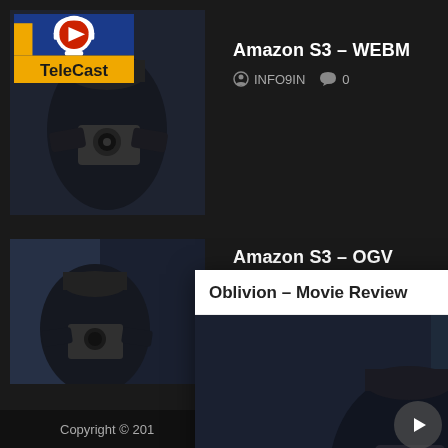[Figure (screenshot): Thumbnail image for Amazon S3 WEBM post with TeleCast logo overlay and person holding camera]
Amazon S3 – WEBM
INFO9IN  0
[Figure (screenshot): Thumbnail image for Amazon S3 OGV post showing person holding camera]
Amazon S3 – OGV
[Figure (screenshot): Popup video player showing Oblivion - Movie Review with a person holding a camera in dark setting]
Copyright © 201